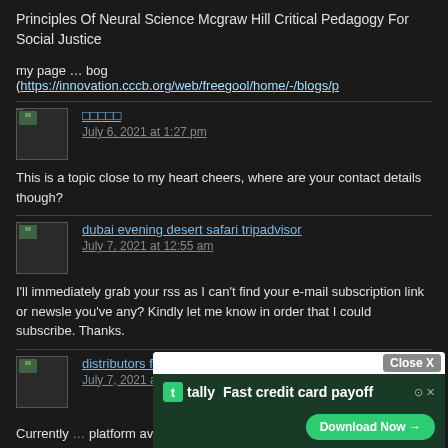Principles Of Neural Science Mcgraw Hill Critical Pedagogy For Social Justice
my page … bog (https://innovation.cccb.org/web/freegool/home/-/blogs/p
□□□□□
July 6, 2021 at 1:27 pm
This is a topic close to my heart cheers, where are your contact details though?
dubai evening desert safari tripadvisor
July 7, 2021 at 12:55 am
I'll immediately grab your rss as I can't find your e-mail subscription link or newsle you've any? Kindly let me know in order that I could subscribe. Thanks.
distributors for ayurvedic products
July 7, 2021 at 8:58 am
Currently platform avai (from wha
[Figure (screenshot): Tally advertisement overlay: 'Fast credit card payoff' with Download Now button and Close X button]